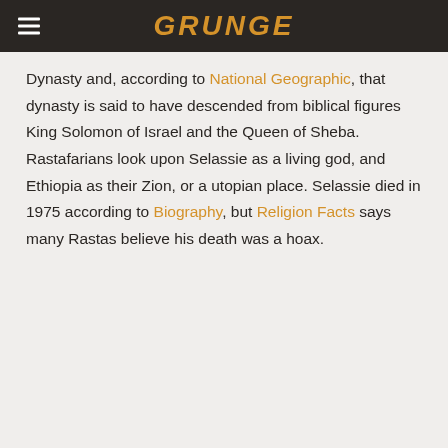GRUNGE
Dynasty and, according to National Geographic, that dynasty is said to have descended from biblical figures King Solomon of Israel and the Queen of Sheba. Rastafarians look upon Selassie as a living god, and Ethiopia as their Zion, or a utopian place. Selassie died in 1975 according to Biography, but Religion Facts says many Rastas believe his death was a hoax.